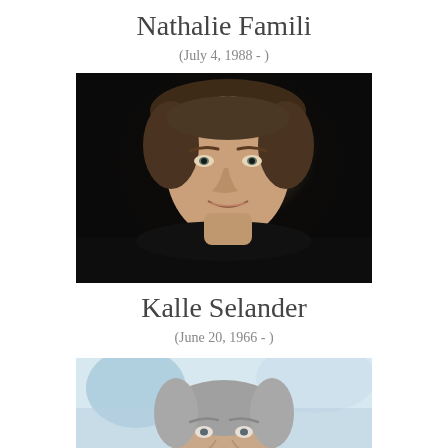Nathalie Famili
(July 4, 1988 - )
[Figure (photo): Professional headshot of a man with short brown hair against a dark background, smiling slightly, wearing a dark top.]
Kalle Selander
(June 20, 1966 - )
[Figure (photo): Partial photo of an older man with gray hair, appearing in a light blurred background, cropped at the bottom of the page.]